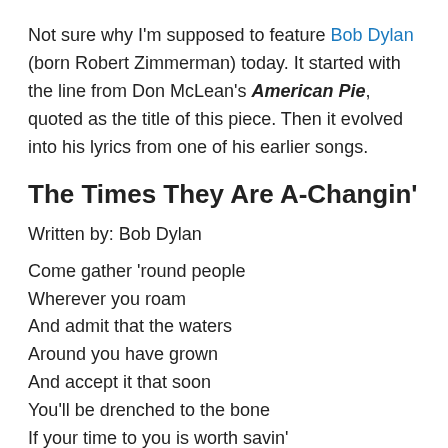Not sure why I'm supposed to feature Bob Dylan (born Robert Zimmerman) today. It started with the line from Don McLean's American Pie, quoted as the title of this piece. Then it evolved into his lyrics from one of his earlier songs.
The Times They Are A-Changin'
Written by: Bob Dylan
Come gather 'round people
Wherever you roam
And admit that the waters
Around you have grown
And accept it that soon
You'll be drenched to the bone
If your time to you is worth savin'